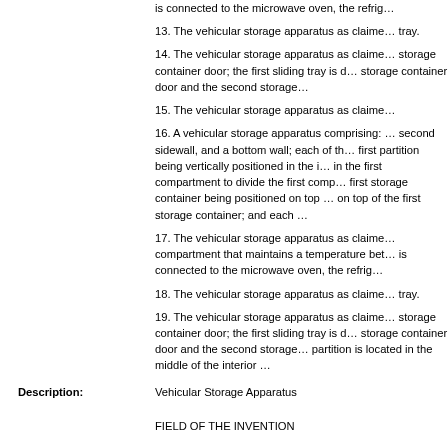is connected to the microwave oven, the refrig…
13. The vehicular storage apparatus as claimed… tray.
14. The vehicular storage apparatus as claimed… storage container door; the first sliding tray is d… storage container door and the second storage…
15. The vehicular storage apparatus as claime…
16. A vehicular storage apparatus comprising: … second sidewall, and a bottom wall; each of th… first partition being vertically positioned in the i… in the first compartment to divide the first comp… first storage container being positioned on top … on top of the first storage container; and each …
17. The vehicular storage apparatus as claime… compartment that maintains a temperature bet… is connected to the microwave oven, the refrig…
18. The vehicular storage apparatus as claime… tray.
19. The vehicular storage apparatus as claime… storage container door; the first sliding tray is d… storage container door and the second storage… partition is located in the middle of the interior …
Description:
Vehicular Storage Apparatus
FIELD OF THE INVENTION